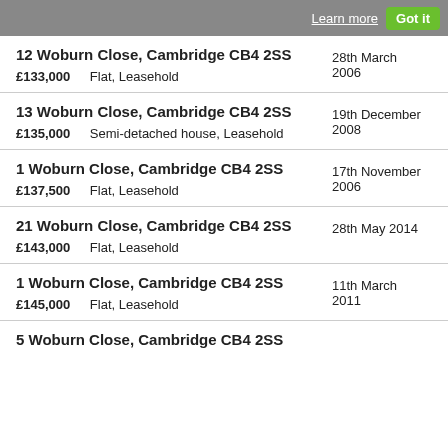Learn more  Got it
12 Woburn Close, Cambridge CB4 2SS
£133,000  Flat, Leasehold  28th March 2006
13 Woburn Close, Cambridge CB4 2SS
£135,000  Semi-detached house, Leasehold  19th December 2008
1 Woburn Close, Cambridge CB4 2SS
£137,500  Flat, Leasehold  17th November 2006
21 Woburn Close, Cambridge CB4 2SS
£143,000  Flat, Leasehold  28th May 2014
1 Woburn Close, Cambridge CB4 2SS
£145,000  Flat, Leasehold  11th March 2011
5 Woburn Close, Cambridge CB4 2SS